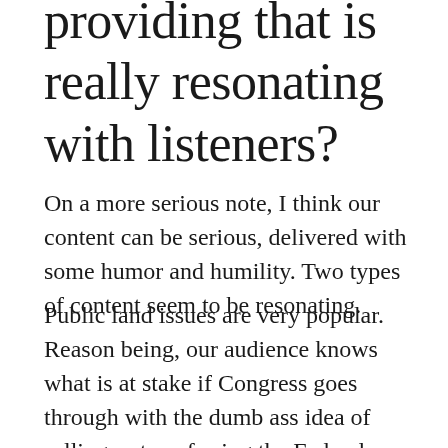providing that is really resonating with listeners?
On a more serious note, I think our content can be serious, delivered with some humor and humility. Two types of content seem to be resonating.
Public land issues are very popular. Reason being, our audience knows what is at stake if Congress goes through with the dumb ass idea of selling or transferring the Federal lands. 70%+ of Western hunters use Federal lands as their primary hunting locations. Sale, or the sterilized term “State Transfer,” will mean 70% of western